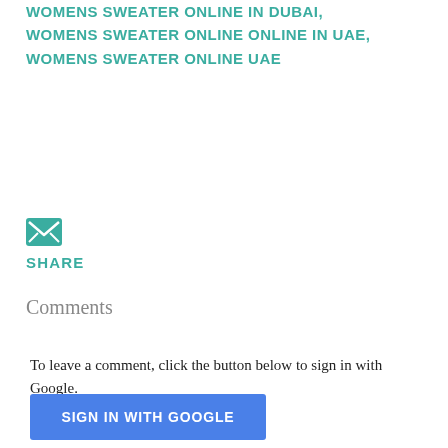WOMENS SWEATER ONLINE IN DUBAI, WOMENS SWEATER ONLINE ONLINE IN UAE, WOMENS SWEATER ONLINE UAE
[Figure (illustration): Email/envelope icon — green rounded rectangle with white envelope shape inside]
SHARE
Comments
To leave a comment, click the button below to sign in with Google.
[Figure (other): Blue button labeled SIGN IN WITH GOOGLE]